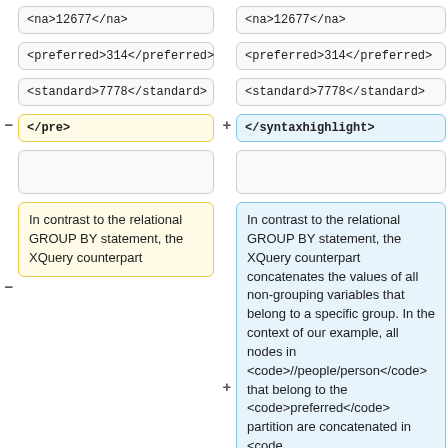<na>12677</na>
<na>12677</na>
<preferred>314</preferred>
<preferred>314</preferred>
<standard>7778</standard>
<standard>7778</standard>
</pre>
</syntaxhighlight>
In contrast to the relational GROUP BY statement, the XQuery counterpart
In contrast to the relational GROUP BY statement, the XQuery counterpart concatenates the values of all non-grouping variables that belong to a specific group. In the context of our example, all nodes in <code>//people/person</code> that belong to the <code>preferred</code> partition are concatenated in <code class="brush:xquery">$ppl</co